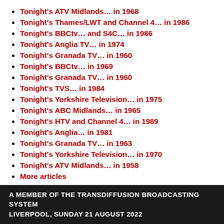Tonight's ATV Midlands… in 1968
Tonight's Thames/LWT and Channel 4… in 1986
Tonight's BBCtv… and S4C… in 1986
Tonight's Anglia TV… in 1974
Tonight's Granada TV… in 1960
Tonight's BBCtv… in 1969
Tonight's Granada TV… in 1960
Tonight's TVS… in 1984
Tonight's Yorkshire Television… in 1975
Tonight's ABC Midlands… in 1965
Tonight's HTV and Channel 4… in 1989
Tonight's Anglia… in 1981
Tonight's Granada TV… in 1963
Tonight's Yorkshire Television… in 1970
Tonight's ATV Midlands… in 1958
More articles
A MEMBER OF THE TRANSDIFFUSION BROADCASTING SYSTEM
LIVERPOOL, SUNDAY 21 AUGUST 2022